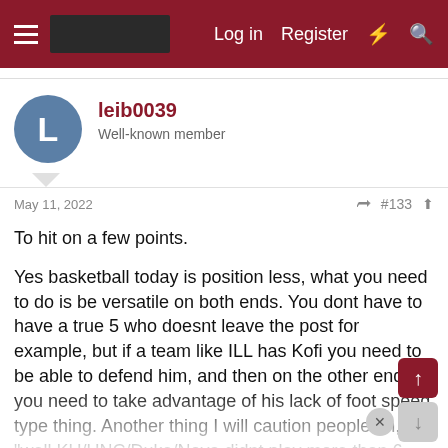Log in  Register
leib0039
Well-known member
May 11, 2022  #133
To hit on a few points.

Yes basketball today is position less, what you need to do is be versatile on both ends. You dont have to have a true 5 who doesnt leave the post for example, but if a team like ILL has Kofi you need to be able to defend him, and then on the other end you need to take advantage of his lack of foot speed type thing. Another thing I will caution people on, "well KU/UNC/Duke/Nova didnt play more than 6 guys and they didnt have this or that" sure. that is true. but they have so much top end talent they can dictate play and get away with more things. We arent there yet so we need to play a